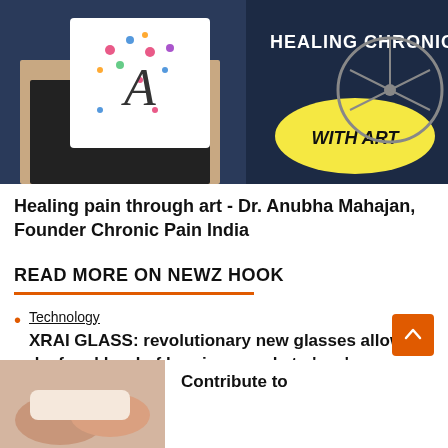[Figure (photo): Dark blue background image with a person holding a white card with letter 'A' decorated with colorful dots, and text overlay reading 'HEALING CHRONIC PAIN WITH ART' in a yellow speech bubble on the right.]
Healing pain through art - Dr. Anubha Mahajan, Founder Chronic Pain India
READ MORE ON NEWZ HOOK
Technology
XRAI GLASS: revolutionary new glasses allow deaf and hard of hearing people to ‘see’ conversations
[Figure (photo): Partial bottom banner showing hands and text 'Contribute to' in bold.]